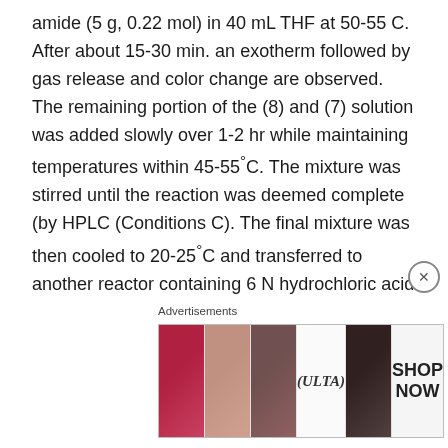amide (5 g, 0.22 mol) in 40 mL THF at 50-55 C. After about 15-30 min. an exotherm followed by gas release and color change are observed. The remaining portion of the (8) and (7) solution was added slowly over 1-2 hr while maintaining temperatures within 45-55°C. The mixture was stirred until the reaction was deemed complete (by HPLC (Conditions C). The final mixture was then cooled to 20-25°C and transferred to another reactor containing 6 N hydrochloric acid (47 mL) followed by 25 mL acetonitrile, stirred, and the bottom aqueous phase was discarded after treatment with 40 mL 50% sodium hydroxide solution. The organic phase was concentrated under reduced pressure and 57 mL acetone was added. The mixture was
[Figure (other): Advertisement banner for ULTA beauty products showing cosmetic imagery (lips with lipstick, makeup brush, eye makeup, ULTA logo, eye closeup) with SHOP NOW call to action]